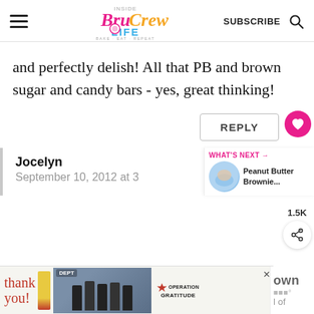Inside Bru Crew Life – SUBSCRIBE
and perfectly delish! All that PB and brown sugar and candy bars - yes, great thinking!
REPLY
1.5K
Jocelyn
September 10, 2012 at 3
WHAT'S NEXT → Peanut Butter Brownie...
[Figure (screenshot): Advertisement banner: thank you with Operation Gratitude logo and firefighters photo]
own